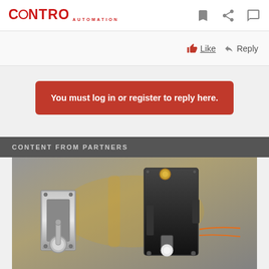CONTROL AUTOMATION
Like  Reply
You must log in or register to reply here.
CONTENT FROM PARTNERS
[Figure (photo): Industrial toggle switches and solenoid actuators/locking mechanisms against a background of yellow robotic arms in a manufacturing setting]